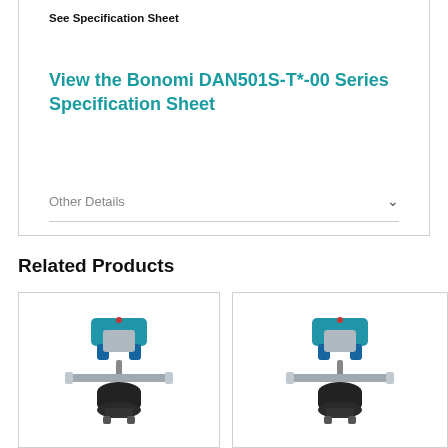See Specification Sheet
View the Bonomi DAN501S-T*-00 Series Specification Sheet
Other Details
Related Products
[Figure (photo): Pneumatic actuated butterfly valve assembly with blue actuator body and silver/chrome pipe connections, mounted on black valve body]
[Figure (photo): Pneumatic actuated butterfly valve assembly with blue actuator body and silver/chrome pipe connections, mounted on black valve body - similar product]